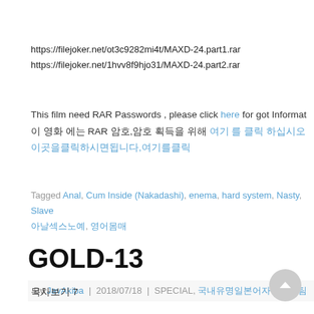https://filejoker.net/ot3c9282mi4t/MAXD-24.part1.rar
https://filejoker.net/1hvv8f9hjo31/MAXD-24.part2.rar
This film need RAR Passwords , please click here for got Informat
이 영화 에는 RAR 암호,암호 획득을 위해 여기 를 클릭 하십시오
이곳을클릭하시면됩니다,여기를클릭
Tagged Anal, Cum Inside (Nakadashi), enema, hard system, Nasty, Slave
아날섹스노예, 영어몸매
GOLD-13
By JavAkiba | 2018/07/18 | SPECIAL, 국내유명일본어자막제작팀
목차보기 7